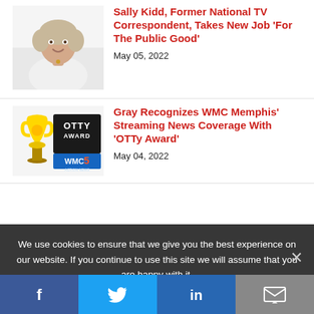[Figure (photo): Headshot of Sally Kidd, a woman with short blonde hair wearing a white outfit]
Sally Kidd, Former National TV Correspondent, Takes New Job 'For The Public Good'
May 05, 2022
[Figure (logo): OTTy Award logo with WMC 5 Action News branding and a gold trophy]
Gray Recognizes WMC Memphis' Streaming News Coverage With 'OTTy Award'
May 04, 2022
We use cookies to ensure that we give you the best experience on our website. If you continue to use this site we will assume that you are happy with it.
Facebook | Twitter | LinkedIn | Email